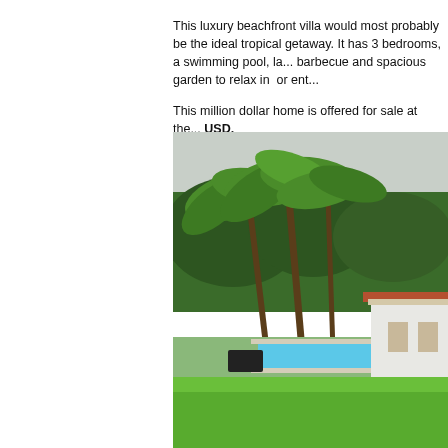This luxury beachfront villa would most probably be the ideal tropical getaway. It has 3 bedrooms, a swimming pool, la... barbecue and spacious garden to relax in or ent...
This million dollar home is offered for sale at the... USD.
[Figure (photo): Exterior photo of a luxury beachfront villa showing a swimming pool surrounded by lush green lawn, tall coconut palm trees, dense tropical greenery in the background, and a white villa building on the right side with an overcast sky.]